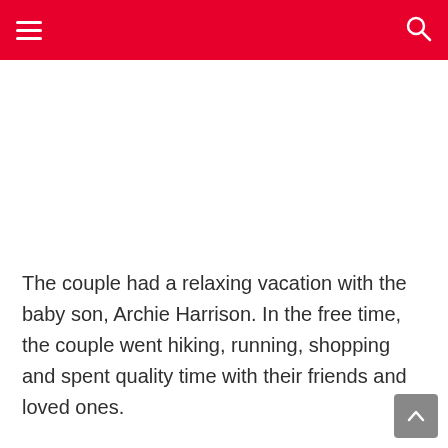Navigation bar with hamburger menu and search icon
[Figure (photo): White/blank image area below navigation bar]
The couple had a relaxing vacation with the baby son, Archie Harrison. In the free time, the couple went hiking, running, shopping and spent quality time with their friends and loved ones.
Since Markle and Prince Harry are one of the most recognized couples on the planet, we wondered how they got away with being incognito for so long